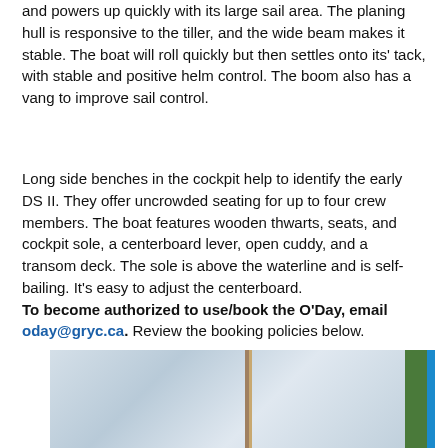and powers up quickly with its large sail area. The planing hull is responsive to the tiller, and the wide beam makes it stable. The boat will roll quickly but then settles onto its' tack, with stable and positive helm control. The boom also has a vang to improve sail control.
Long side benches in the cockpit help to identify the early DS II. They offer uncrowded seating for up to four crew members. The boat features wooden thwarts, seats, and cockpit sole, a centerboard lever, open cuddy, and a transom deck. The sole is above the waterline and is self-bailing. It's easy to adjust the centerboard. To become authorized to use/book the O'Day, email oday@gryc.ca. Review the booking policies below.
[Figure (photo): Partial photo of a sailboat showing sails and mast against a background with trees]